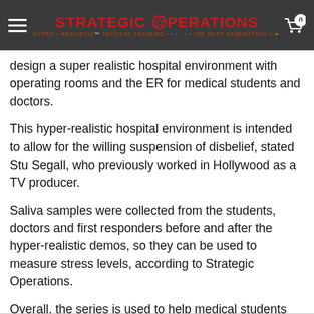Strategic Operations — HYPER-REALISTIC™ TACTICAL TRAINING · · · · · · THE NEXT GENERATION
design a super realistic hospital environment with operating rooms and the ER for medical students and doctors.
This hyper-realistic hospital environment is intended to allow for the willing suspension of disbelief, stated Stu Segall, who previously worked in Hollywood as a TV producer.
Saliva samples were collected from the students, doctors and first responders before and after the hyper-realistic demos, so they can be used to measure stress levels, according to Strategic Operations.
Overall, the series is used to help medical students learn real-life skills they can't pick up in a textbook.